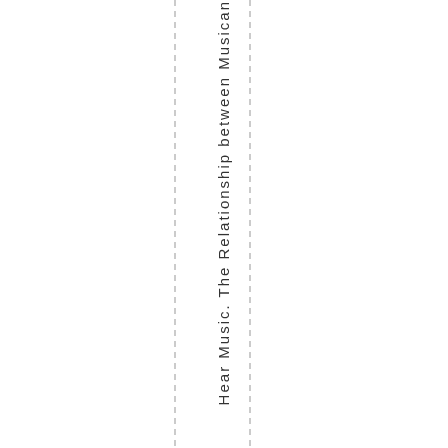Hear Music. The Relationship between Musican